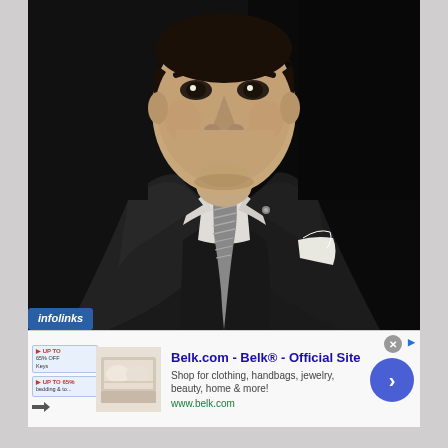[Figure (photo): Black and white portrait photograph of a man in a dark three-piece suit with a striped tie and white pocket square, photographed from the waist up against a dark background.]
[Figure (screenshot): Advertisement for Belk.com - Belk Official Site. Shows 'Shop for clothing, handbags, jewelry, beauty, home & more!' with URL www.belk.com, a thumbnail image of bedding/home goods, and a blue circular call-to-action button with a right arrow. Also shows infolinks badge in corner and a close button.]